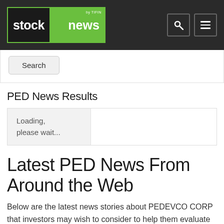stock news by TIFIN
Search
PED News Results
Loading, please wait...
Latest PED News From Around the Web
Below are the latest news stories about PEDEVCO CORP that investors may wish to consider to help them evaluate PED as an investment opportunity.